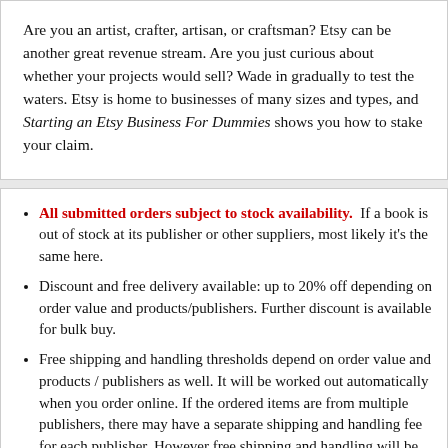Are you an artist, crafter, artisan, or craftsman? Etsy can be another great revenue stream. Are you just curious about whether your projects would sell? Wade in gradually to test the waters. Etsy is home to businesses of many sizes and types, and Starting an Etsy Business For Dummies shows you how to stake your claim.
All submitted orders subject to stock availability. If a book is out of stock at its publisher or other suppliers, most likely it's the same here.
Discount and free delivery available: up to 20% off depending on order value and products/publishers. Further discount is available for bulk buy.
Free shipping and handling thresholds depend on order value and products / publishers as well. It will be worked out automatically when you order online. If the ordered items are from multiple publishers, there may have a separate shipping and handling fee for each publisher. However free shipping and handling will be provided when the total order value is over the thresholds. TIPS: bulk or